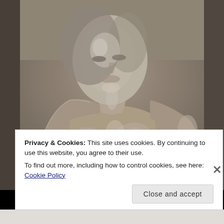[Figure (illustration): A monochromatic chalk or charcoal drawing of a female figure torso and face, rendered in grey tones on a grey-brown background. The figure appears to be a nude study in a classical figurative drawing style.]
Privacy & Cookies: This site uses cookies. By continuing to use this website, you agree to their use.
To find out more, including how to control cookies, see here: Cookie Policy
Close and accept